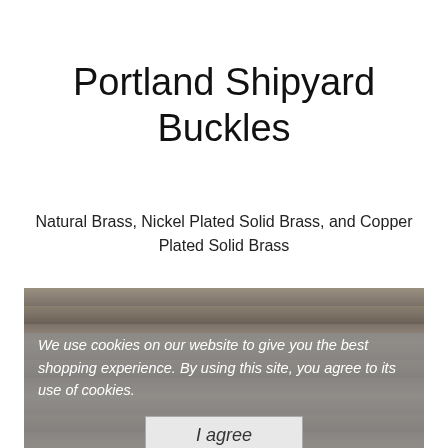Portland Shipyard Buckles
Natural Brass, Nickel Plated Solid Brass, and Copper Plated Solid Brass
[Figure (photo): Photo of a Portland Shipyard buckle made of brass, displayed on a wooden background, with a cookie consent overlay showing the text 'We use cookies on our website to give you the best shopping experience. By using this site, you agree to its use of cookies.' and an 'I agree' button.]